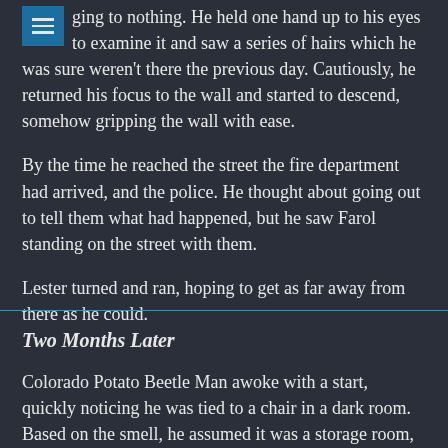he opened his eyes, he saw his hands on the wall, seemingly clinging to nothing. He held one hand up to his eyes to examine it and saw a series of hairs which he was sure weren't there the previous day. Cautiously, he returned his focus to the wall and started to descend, somehow gripping the wall with ease.
By the time he reached the street the fire department had arrived, and the police. He thought about going out to tell them what had happened, but he saw Farol standing on the street with them.
Lester turned and ran, hoping to get as far away from there as he could.
Two Months Later
Colorado Potato Beetle Man awoke with a start, quickly noticing he was tied to a chair in a dark room. Based on the smell, he assumed it was a storage room, most likely unused. Beside him, he could hear someone breathing, probably Megan tied to a similar chair.